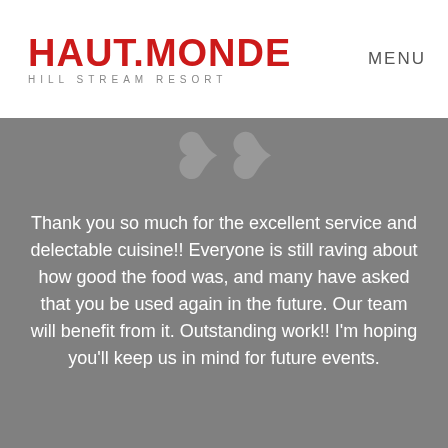[Figure (logo): Haut.Monde Hill Stream Resort logo in red bold text with subtitle]
MENU
Thank you so much for the excellent service and delectable cuisine!! Everyone is still raving about how good the food was, and many have asked that you be used again in the future. Our team will benefit from it. Outstanding work!! I'm hoping you'll keep us in mind for future events.